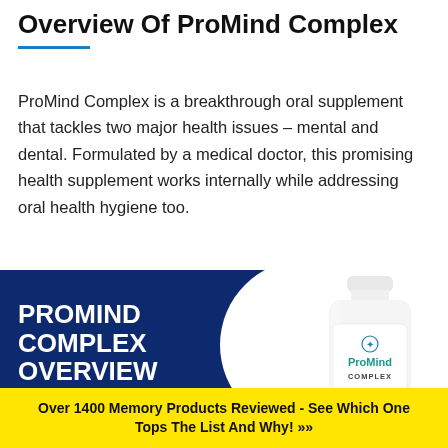Overview Of ProMind Complex
ProMind Complex is a breakthrough oral supplement that tackles two major health issues – mental and dental. Formulated by a medical doctor, this promising health supplement works internally while addressing oral health hygiene too.
[Figure (infographic): Promotional infographic with dark navy blue background panel showing text 'PROMIND COMPLEX OVERVIEW' in bold white uppercase letters, a white circular arc element, and a supplement bottle labeled 'ProMind COMPLEX' on the right side.]
Over 1400 Memory Products Reviewed - See Which One Tops The List And Why! »